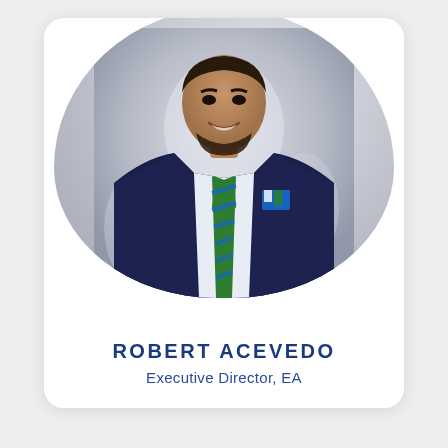[Figure (photo): Professional headshot of Robert Acevedo, a man wearing a navy suit with a green and blue striped tie and pocket square, smiling, displayed in a rounded card layout with a circular-crop photo area]
ROBERT ACEVEDO
Executive Director, EA